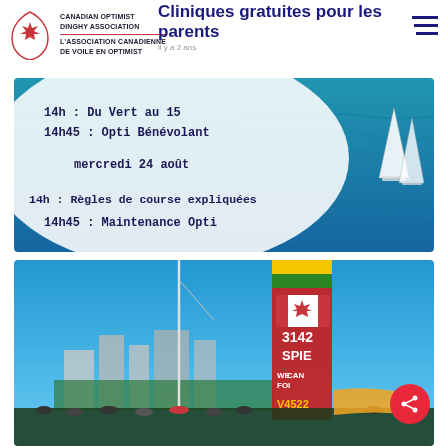Canadian Optimist Dinghy Association / L'Association Canadienne de Voile en Optimist
Cliniques gratuites pour les parents
il y a 2 ans
[Figure (photo): Schedule card over water background showing: 14h : Du Vert au 15 / 14h45 : Opti Bénévolant / mercredi 24 août / 14h : Règles de course expliquées / 14h45 : Maintenance Opti. Sailing boats visible on right side.]
[Figure (photo): Outdoor photo showing a tall sailing structure/windsurfer sail with markings '3142', 'SPIE', Canadian maple leaf flag, Jamaican flag colors, 'WE CAN FOI' text, and 'V4522' text. Crowd of people at the bottom, buildings and blue sky in background.]